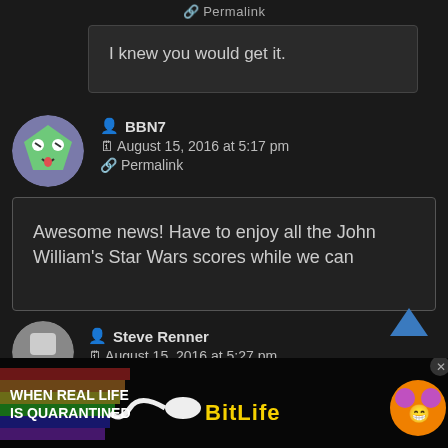Permalink
I knew you would get it.
BBN7
August 15, 2016 at 5:17 pm
Permalink
Awesome news! Have to enjoy all the John William's Star Wars scores while we can
Steve Renner
August 15, 2016 at 5:27 pm
[Figure (infographic): BitLife advertisement banner with rainbow gradient, 'WHEN REAL LIFE IS QUARANTINED' text and BitLife logo with emoji character]